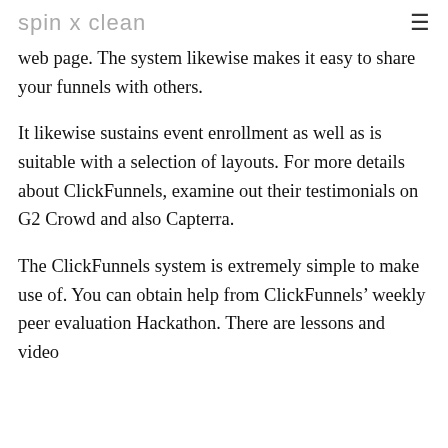spin x clean
web page. The system likewise makes it easy to share your funnels with others.
It likewise sustains event enrollment as well as is suitable with a selection of layouts. For more details about ClickFunnels, examine out their testimonials on G2 Crowd and also Capterra.
The ClickFunnels system is extremely simple to make use of. You can obtain help from ClickFunnels' weekly peer evaluation Hackathon. There are lessons and video